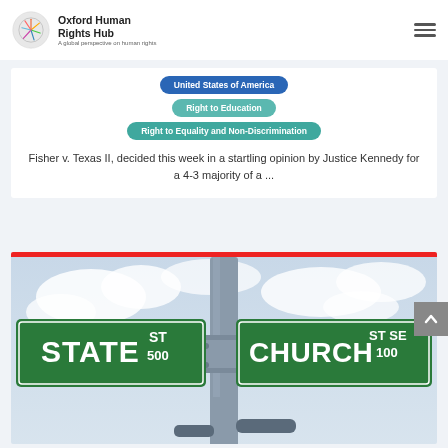Oxford Human Rights Hub — A global perspective on human rights
United States of America
Right to Education
Right to Equality and Non-Discrimination
Fisher v. Texas II, decided this week in a startling opinion by Justice Kennedy for a 4-3 majority of a ...
[Figure (photo): Street sign intersection showing STATE ST 500 and CHURCH ST SE 100 on a metal pole against a cloudy sky]